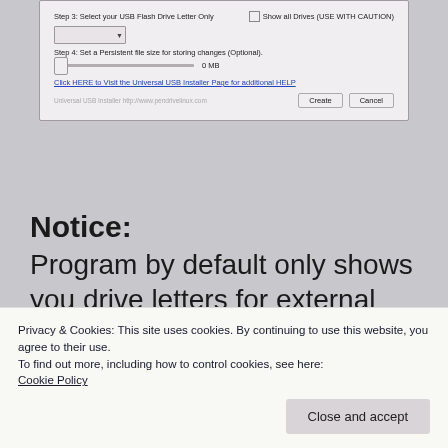[Figure (screenshot): Universal USB Installer dialog box showing Step 3 (Select USB Flash Drive Letter Only with Show all Drives checkbox), Step 4 (Set a Persistent file size slider at 0 MB), a help link, watermark text, and Create/Cancel buttons.]
Notice:
Program by default only shows you drive letters for external storage, but If you plug your USB stick after you have run the program, you
Privacy & Cookies: This site uses cookies. By continuing to use this website, you agree to their use.
To find out more, including how to control cookies, see here:
Cookie Policy
Close and accept